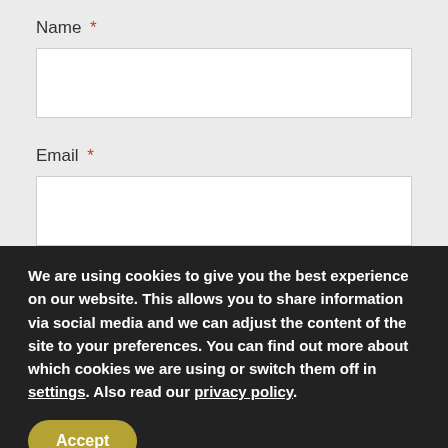Name *
Email *
Website
We are using cookies to give you the best experience on our website. This allows you to share information via social media and we can adjust the content of the site to your preferences. You can find out more about which cookies we are using or switch them off in settings. Also read our privacy policy.
Accept